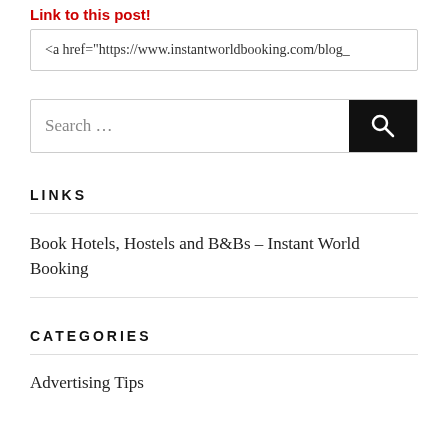Link to this post!
<a href="https://www.instantworldbooking.com/blog_
[Figure (other): Search box with text 'Search ...' and a black button with a magnifying glass icon]
LINKS
Book Hotels, Hostels and B&Bs – Instant World Booking
CATEGORIES
Advertising Tips